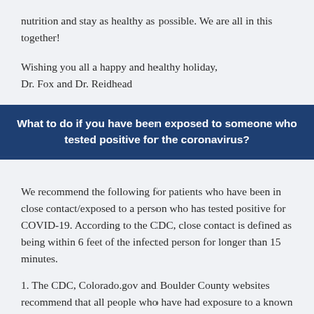nutrition and stay as healthy as possible. We are all in this together!
Wishing you all a happy and healthy holiday,
Dr. Fox and Dr. Reidhead
What to do if you have been exposed to someone who tested positive for the coronavirus?
We recommend the following for patients who have been in close contact/exposed to a person who has tested positive for COVID-19. According to the CDC, close contact is defined as being within 6 feet of the infected person for longer than 15 minutes.
1. The CDC, Colorado.gov and Boulder County websites recommend that all people who have had exposure to a known positive COVID-19 infected person quarantine for a full 14 days. We are finding that it may take up to 14